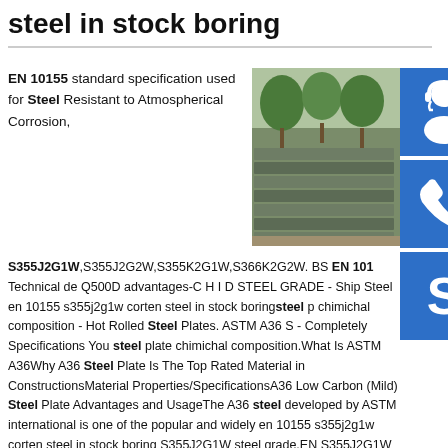steel in stock boring
EN 10155 standard specification used for Steel Resistant to Atmospherical Corrosion,
[Figure (photo): Stack of steel plates in a warehouse/outdoor storage area]
[Figure (illustration): Blue icon with headset/customer service symbol]
[Figure (illustration): Blue icon with phone/call symbol]
[Figure (illustration): Blue icon with Skype logo symbol]
S355J2G1W,S355J2G2W,S355K2G1W,S366K2G2W. BS EN 10 Technical de Q500D advantages-C H I D STEEL GRADE - Ship Steel en 10155 s355j2g1w corten steel in stock boringsteel p chimichal composition - Hot Rolled Steel Plates. ASTM A36 S - Completely Specifications You steel plate chimichal composition.What Is ASTM A36Why A36 Steel Plate Is The Top Rated Material in ConstructionsMaterial Properties/SpecificationsA36 Low Carbon (Mild) Steel Plate Advantages and UsageThe A36 steel developed by ASTM international is one of the popular and widely en 10155 s355j2g1w corten steel in stock boring S355J2G1W steel grade,EN S355J2G1W steel plate stock price in en 10155 s355j2g1w corten steel in stock boringEN S355J2G1W steel plate is widely